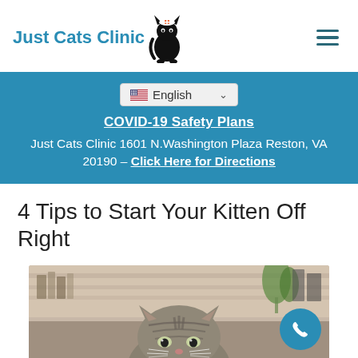Just Cats Clinic
English
COVID-19 Safety Plans
Just Cats Clinic 1601 N.Washington Plaza Reston, VA 20190 – Click Here for Directions
4 Tips to Start Your Kitten Off Right
[Figure (photo): A tabby kitten peeking up from below, with blurred bookshelves and a plant in the background]